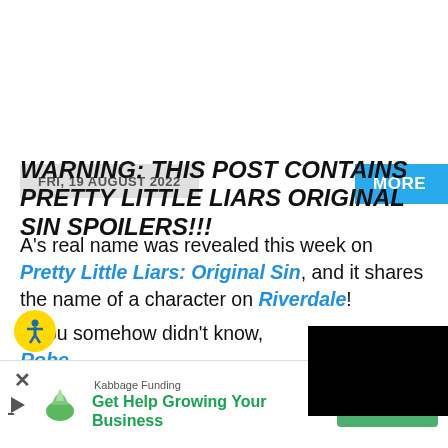FRI, 19 AUGUST 2022
WARNING: THIS POST CONTAINS PRETTY LITTLE LIARS ORIGINAL SIN SPOILERS!!!
A's real name was revealed this week on Pretty Little Liars: Original Sin, and it shares the name of a character on Riverdale!
If you somehow didn't know, Robe...
[Figure (screenshot): Black video popup overlay in bottom right corner with X close button]
[Figure (infographic): Advertisement banner: Kabbage Funding - Get Help Growing Your Business, with Apply Now green button and leaf logo]